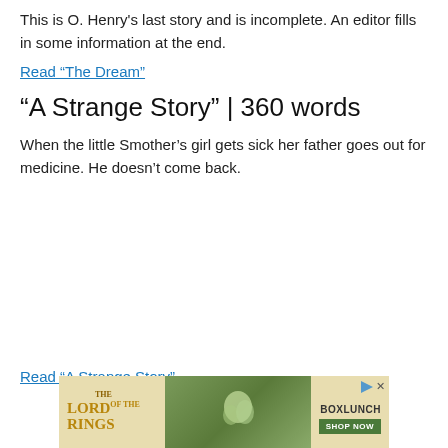This is O. Henry's last story and is incomplete. An editor fills in some information at the end.
Read “The Dream”
“A Strange Story” | 360 words
When the little Smother’s girl gets sick her father goes out for medicine. He doesn’t come back.
Read “A Strange Story”
[Figure (other): Advertisement banner for Lord of the Rings merchandise at BoxLunch with a green floral image in the center.]